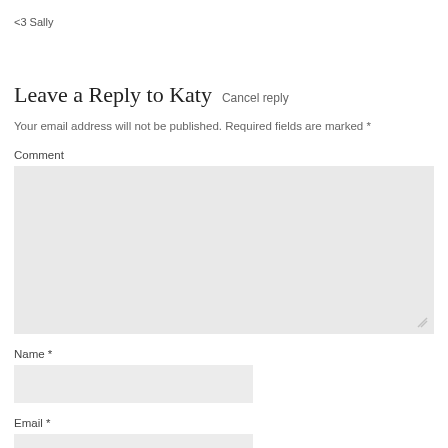<3 Sally
Leave a Reply to Katy  Cancel reply
Your email address will not be published. Required fields are marked *
Comment
Name *
Email *